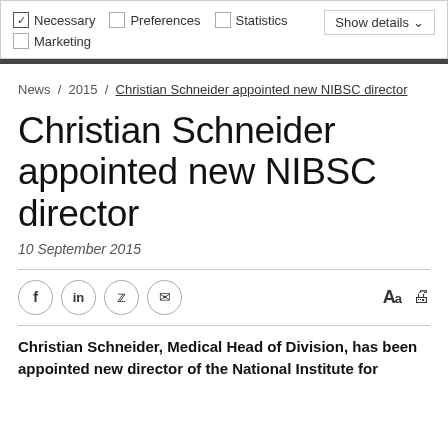Necessary  Preferences  Statistics  Marketing  Show details
News / 2015 / Christian Schneider appointed new NIBSC director
Christian Schneider appointed new NIBSC director
10 September 2015
Christian Schneider, Medical Head of Division, has been appointed new director of the National Institute for